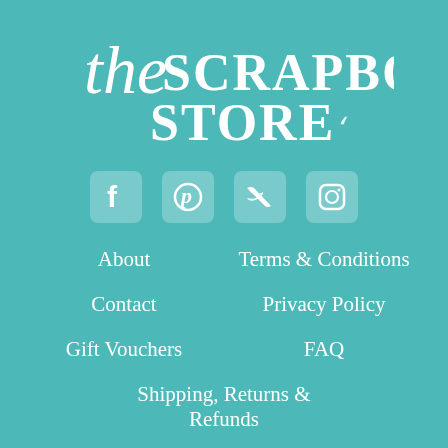[Figure (logo): The Scrapbook Store logo in white text on teal background, with decorative script 'the' and bold uppercase 'SCRAPBOOK STORE' with a small flourish]
[Figure (infographic): Social media icons: Facebook, Pinterest, Twitter, Instagram - white rounded square icons on teal background]
About
Terms & Conditions
Contact
Privacy Policy
Gift Vouchers
FAQ
Shipping, Returns & Refunds
[Figure (infographic): Payment method logos: Visa, PayPal, Mastercard, Afterpay - displayed as white rounded rectangle badges]